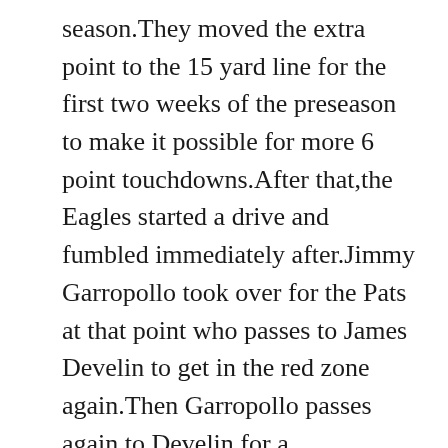season.They moved the extra point to the 15 yard line for the first two weeks of the preseason to make it possible for more 6 point touchdowns.After that,the Eagles started a drive and fumbled immediately after.Jimmy Garropollo took over for the Pats at that point who passes to James Develin to get in the red zone again.Then Garropollo passes again to Develin for a touchdown.14-7,2:39 left in the 1st.No more scoring in the 1st quarter but the teams tie it in the 2nd.The Eagles scored two touchdowns and the Patriots scored one.At halftime it was tied 21-21.Ryan Mallett handled the 3rd scoring one more touchdown for the Patriots.Both teams scored touchdowns again shortly after to make it 35-28 Patriots.The